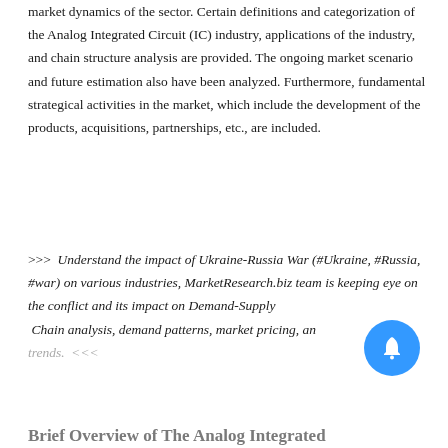market dynamics of the sector. Certain definitions and categorization of the Analog Integrated Circuit (IC) industry, applications of the industry, and chain structure analysis are provided. The ongoing market scenario and future estimation also have been analyzed. Furthermore, fundamental strategical activities in the market, which include the development of the products, acquisitions, partnerships, etc., are included.
>>> Understand the impact of Ukraine-Russia War (#Ukraine, #Russia, #war) on various industries, MarketResearch.biz team is keeping eye on the conflict and its impact on Demand-Supply Chain analysis, demand patterns, market pricing, and trends. <<<
Brief Overview of The Analog Integrated